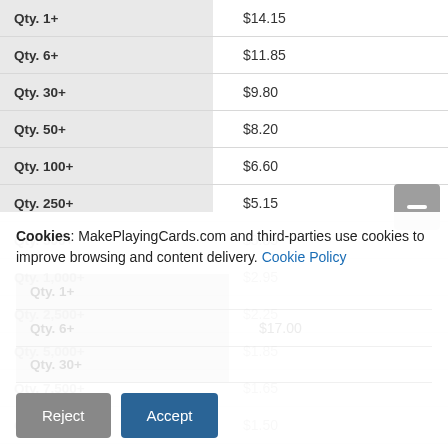| Quantity | Price |
| --- | --- |
| Qty. 1+ | $14.15 |
| Qty. 6+ | $11.85 |
| Qty. 30+ | $9.80 |
| Qty. 50+ | $8.20 |
| Qty. 100+ | $6.60 |
| Qty. 250+ | $5.15 |
| Qty. 500+ | $3.85 |
| Qty. 1,000+ | $2.95 |
| Qty. 2,500+ | $2.25 |
| Qty. 5,000+ | $1.85 |
| Qty. 7,500+ | $1.65 |
| Qty. 10,000+ | $1.50 |
| Qty. 12,500+ | $1.35 |
| Qty. 15,000+ | $1.24 |
Cookies: MakePlayingCards.com and third-parties use cookies to improve browsing and content delivery. Cookie Policy